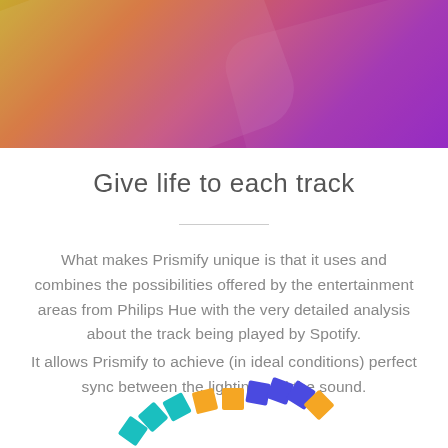[Figure (illustration): Colorful gradient header banner with golden-yellow to purple gradient with diagonal light streaks]
Give life to each track
What makes Prismify unique is that it uses and combines the possibilities offered by the entertainment areas from Philips Hue with the very detailed analysis about the track being played by Spotify.
It allows Prismify to achieve (in ideal conditions) perfect sync between the lighting and the sound.
[Figure (illustration): Partial circular dial or arc of colored squares/tiles in blue, teal, orange colors arranged in a semicircle, partially visible at bottom of page]